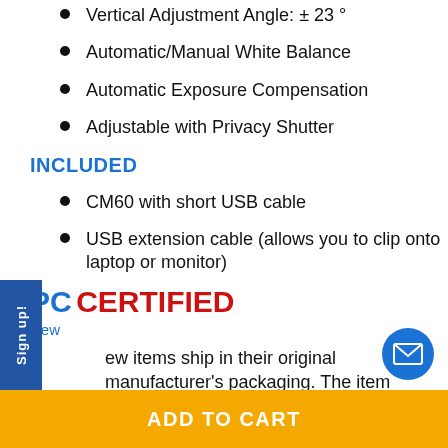Vertical Adjustment Angle: ± 23 °
Automatic/Manual White Balance
Automatic Exposure Compensation
Adjustable with Privacy Shutter
INCLUDED
CM60 with short USB cable
USB extension cable (allows you to clip onto laptop or monitor)
PC CERTIFIED
New
ew items ship in their original manufacturer's packaging. The item comes in excellent condition
ADD TO CART